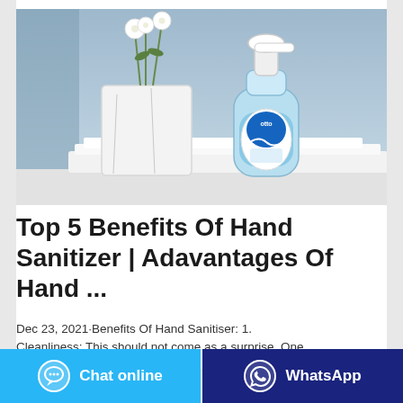[Figure (photo): A pump bottle of blue hand sanitizer with a white pump top, placed on folded white towels, alongside a white ceramic vase holding white flowers, against a soft blue background.]
Top 5 Benefits Of Hand Sanitizer | Adavantages Of Hand ...
Dec 23, 2021·Benefits Of Hand Sanitiser: 1.
Cleanliness: This should not come as a surprise. One
Chat online
WhatsApp